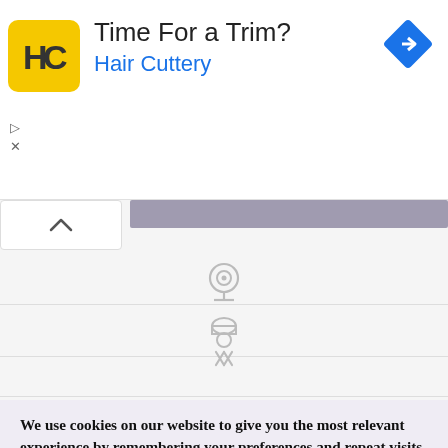[Figure (logo): Hair Cuttery advertisement banner with HC logo in yellow square, title 'Time For a Trim?' and subtitle 'Hair Cuttery' in blue, with a navigation/directions diamond icon top right]
[Figure (screenshot): Map interface area with scroll bar, chevron up button, horizontal rule lines, and two map category icons: a webcam/camera icon and a restaurant/chef icon with crossed utensils]
We use cookies on our website to give you the most relevant experience by remembering your preferences and repeat visits. By clicking “Accept”, you consent to the use of ALL the cookies.
Do not sell my personal information.
Cookie Settings
Accept